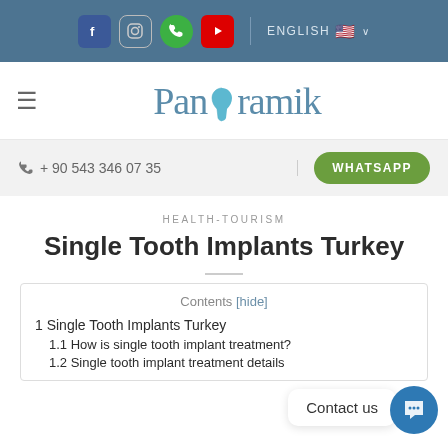f  [instagram]  [phone]  [youtube]  |  ENGLISH 🇺🇸 ∨
[Figure (logo): Panoramik dental clinic logo with tooth icon replacing the letter o]
☎ + 90 543 346 07 35    WHATSAPP
HEALTH-TOURISM
Single Tooth Implants Turkey
Contents [hide]
1 Single Tooth Implants Turkey
1.1 How is single tooth implant treatment?
1.2 Single tooth implant treatment details